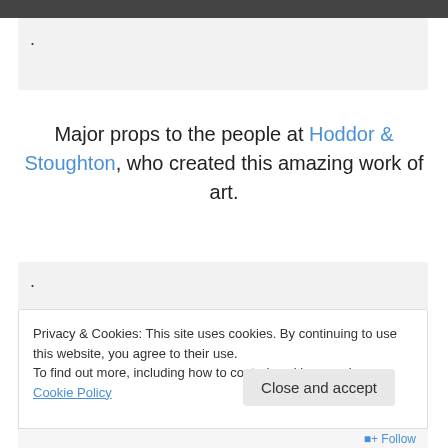[Figure (photo): Top portion of a photo, dark tones, partially cropped]
·
Major props to the people at Hoddor & Stoughton, who created this amazing work of art.
·
Privacy & Cookies: This site uses cookies. By continuing to use this website, you agree to their use.
To find out more, including how to control cookies, see here: Cookie Policy
Close and accept